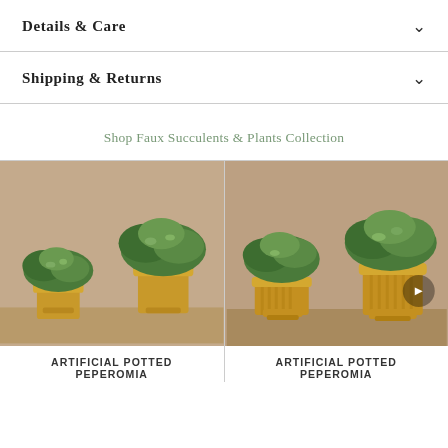Details & Care
Shipping & Returns
Shop Faux Succulents & Plants Collection
[Figure (photo): Two artificial potted peperomia plants in gold pots on a wood surface against a beige wall]
[Figure (photo): Two artificial potted peperomia plants in ribbed gold pots on a wood surface against a beige wall, with navigation arrow overlay]
ARTIFICIAL POTTED PEPEROMIA
ARTIFICIAL POTTED PEPEROMIA